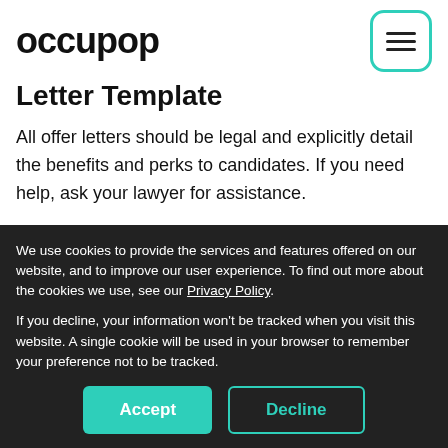occupop
Letter Template
All offer letters should be legal and explicitly detail the benefits and perks to candidates. If you need help, ask your lawyer for assistance.
22. Expect Questions
We use cookies to provide the services and features offered on our website, and to improve our user experience. To find out more about the cookies we use, see our Privacy Policy.
If you decline, your information won't be tracked when you visit this website. A single cookie will be used in your browser to remember your preference not to be tracked.